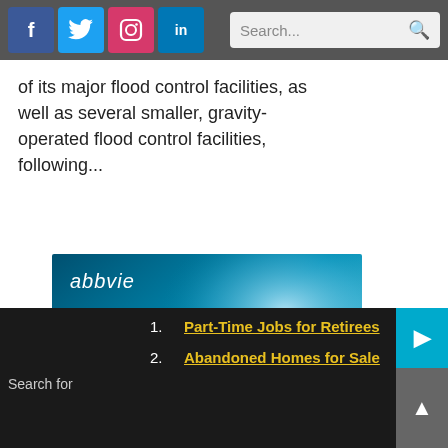Social media icons (Facebook, Twitter, Instagram, LinkedIn) and search bar
of its major flood control facilities, as well as several smaller, gravity-operated flood control facilities, following...
[Figure (photo): AbbVie advertisement banner with teal/blue gradient background. Logo: 'abbvie'. Headline: 'YOU MOVE MEDICINE FORWA'. Subtext: 'Take part in a clinical study'. Contact: 'Questions? | 800.827.2778 www.abbviephase1.com']
Search for | 1. Part-Time Jobs for Retirees | 2. Abandoned Homes for Sale